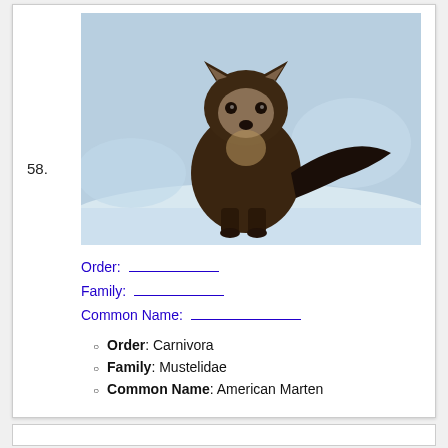[Figure (photo): A photo of an American Marten (a small dark brown mustelid mammal) standing on snow, facing the camera, with a light-colored face and dark body and tail.]
Order: ___________
Family: ___________
Common Name: ___________
Order: Carnivora
Family: Mustelidae
Common Name: American Marten